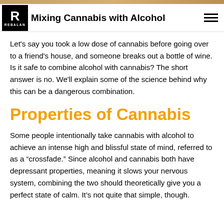[Figure (photo): Partial photo strip at very top of page, brownish/warm toned image cropped at top]
Mixing Cannabis with Alcohol
Let's say you took a low dose of cannabis before going over to a friend's house, and someone breaks out a bottle of wine. Is it safe to combine alcohol with cannabis? The short answer is no. We'll explain some of the science behind why this can be a dangerous combination.
Properties of Cannabis
Some people intentionally take cannabis with alcohol to achieve an intense high and blissful state of mind, referred to as a “crossfade.” Since alcohol and cannabis both have depressant properties, meaning it slows your nervous system, combining the two should theoretically give you a perfect state of calm. It’s not quite that simple, though.